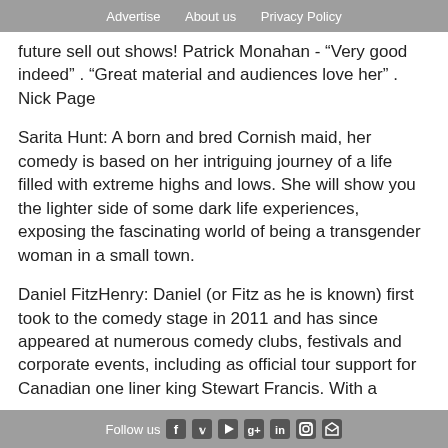Advertise   About us   Privacy Policy
future sell out shows! Patrick Monahan - “Very good indeed” . “Great material and audiences love her” . Nick Page
Sarita Hunt: A born and bred Cornish maid, her comedy is based on her intriguing journey of a life filled with extreme highs and lows. She will show you the lighter side of some dark life experiences, exposing the fascinating world of being a transgender woman in a small town.
Daniel FitzHenry: Daniel (or Fitz as he is known) first took to the comedy stage in 2011 and has since appeared at numerous comedy clubs, festivals and corporate events, including as official tour support for Canadian one liner king Stewart Francis. With a
Follow us  f  🐦  ▶  g+  in  📷  RSS